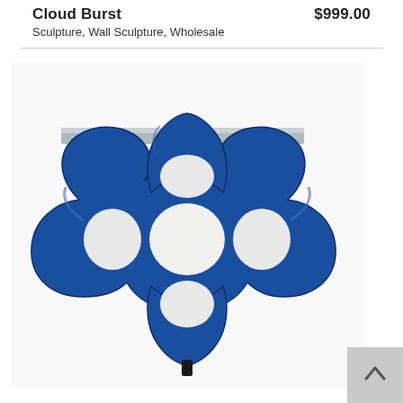Cloud Burst
$999.00
Sculpture, Wall Sculpture, Wholesale
[Figure (photo): A blue abstract sculpture with interlocking curved shapes resembling a four-leaf clover or cloud burst form, with a dark metal top shelf supported by two black metal rods. The sculpture is painted in deep cobalt blue.]